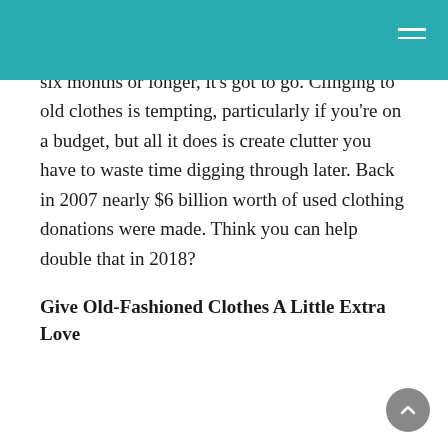that cute cardigan you got at that office party. If you haven't worn a certain article of clothing in six months or longer, it's got to go. Clinging to old clothes is tempting, particularly if you're on a budget, but all it does is create clutter you have to waste time digging through later. Back in 2007 nearly $6 billion worth of used clothing donations were made. Think you can help double that in 2018?
Give Old-Fashioned Clothes A Little Extra Love